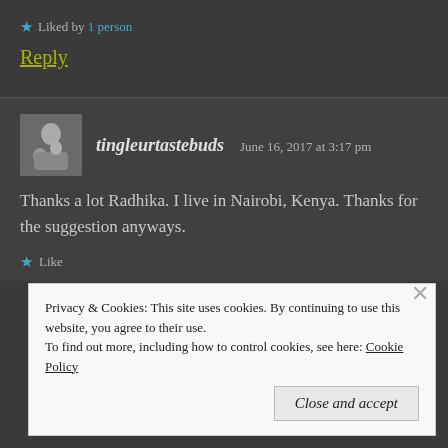★ Liked by 1 person
Reply
tingleurtastebuds   June 16, 2017 at 3:17 pm
Thanks a lot Radhika. I live in Nairobi, Kenya. Thanks for the suggestion anyways.
★ Like
Privacy & Cookies: This site uses cookies. By continuing to use this website, you agree to their use. To find out more, including how to control cookies, see here: Cookie Policy
Close and accept